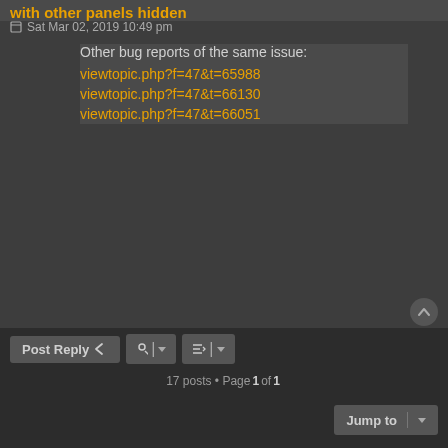with other panels hidden
Sat Mar 02, 2019 10:49 pm
Other bug reports of the same issue:
viewtopic.php?f=47&t=65988
viewtopic.php?f=47&t=66130
viewtopic.php?f=47&t=66051
kovarex
Factorio Staff
Re: [kovarex] [0.17.4] Gui top right frame description not wrapped with other panels hidden
Mon Mar 04, 2019 2:06 pm
Thanks for the report, fixed for 0.17.5
17 posts • Page 1 of 1
Post Reply
Jump to